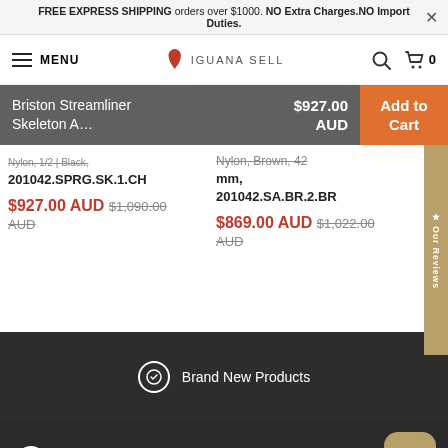FREE EXPRESS SHIPPING orders over $1000. NO Extra Charges.NO Import Duties.
[Figure (screenshot): Iguana Sell website navigation bar with hamburger menu, MENU text, Iguana Sell logo, search icon, and cart icon with 0]
Briston Streamliner Skeleton A... $927.00 AUD — Add to Cart
201042.SPRG.SK.1.CH
$927.00 AUD $1,090.00 AUD
mm, 201042.SA.BR.2.BR
$869.00 AUD $1,022.00 AUD
★ Our Reviews
Brand New Products
Official Retailer
Rewards